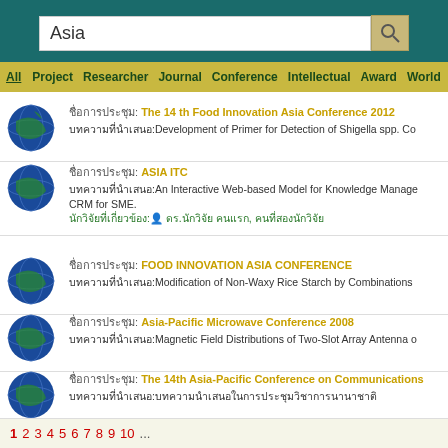Asia [search bar]
All  Project  Researcher  Journal  Conference  Intellectual  Award  World
ชื่อ: The 14 th Food Innovation Asia Conference 2012 | บทความ: Development of Primer for Detection of Shigella spp. Co…
ชื่อ: ASIA ITC | บทความ: An Interactive Web-based Model for Knowledge Management CRM for SME. | นักวิจัย: ดร.ชื่อนักวิจัย คนนักวิจัย, ชื่อคนอื่นๆนักวิจัย
ชื่อ: FOOD INNOVATION ASIA CONFERENCE | บทความ: Modification of Non-Waxy Rice Starch by Combinations…
ชื่อ: Asia-Pacific Microwave Conference 2008 | บทความ: Magnetic Field Distributions of Two-Slot Array Antenna o…
ชื่อ: The 14th Asia-Pacific Conference on Communications | บทความ: …
1  2  3  4  5  6  7  8  9  10  ...